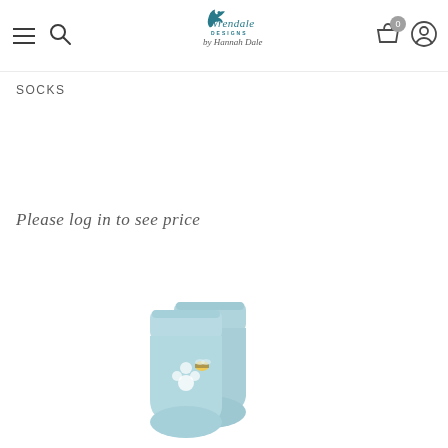Wrendale Designs by Hannah Dale — navigation header
SOCKS
Please log in to see price
[Figure (photo): Two light blue socks with floral and bee design, part visible at bottom of page]